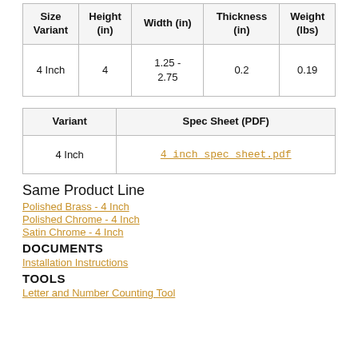| Size Variant | Height (in) | Width (in) | Thickness (in) | Weight (lbs) |
| --- | --- | --- | --- | --- |
| 4 Inch | 4 | 1.25 - 2.75 | 0.2 | 0.19 |
| Variant | Spec Sheet (PDF) |
| --- | --- |
| 4 Inch | 4_inch_spec_sheet.pdf |
Same Product Line
Polished Brass - 4 Inch
Polished Chrome - 4 Inch
Satin Chrome - 4 Inch
DOCUMENTS
Installation Instructions
TOOLS
Letter and Number Counting Tool